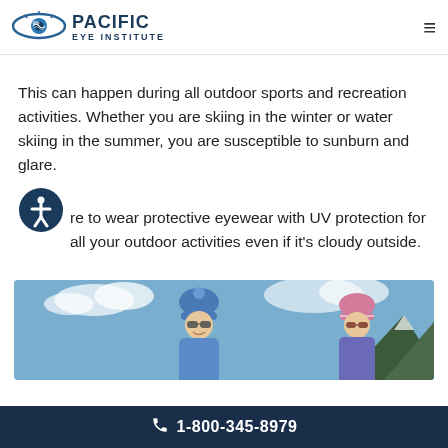Pacific Eye Institute
This can happen during all outdoor sports and recreation activities. Whether you are skiing in the winter or water skiing in the summer, you are susceptible to sunburn and glare.
re to wear protective eyewear with UV protection for all your outdoor activities even if it's cloudy outside.
[Figure (photo): Two people in winter gear with ski hats and sunglasses outdoors against a blue sky with mountains]
1-800-345-8979